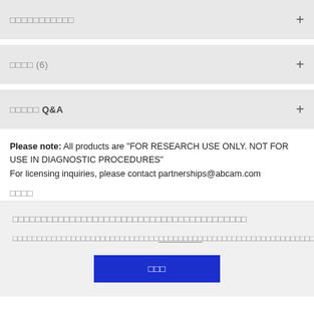□□□□□□□□□□□
□□□□ (6)
□□□□□ Q&A
Please note: All products are "FOR RESEARCH USE ONLY. NOT FOR USE IN DIAGNOSTIC PROCEDURES"
For licensing inquiries, please contact partnerships@abcam.com
□□□□
□□□□□□□□□□□□□□□□□□□□□□□□□□□□□□□□□□□□□□□□□
□□□□□□□□□□□□□□□□□□□□□□□□□□□□□□ □□□□□□□□□ □□□□□□□□□□□□□□□□□□□□□□□□□□□□□□□□□□□□□□□□□□□□
□□□